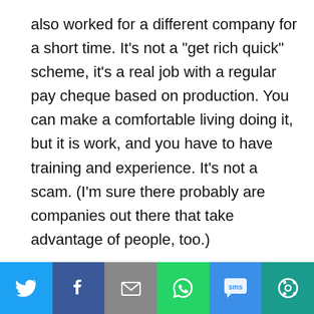also worked for a different company for a short time. It's not a "get rich quick" scheme, it's a real job with a regular pay cheque based on production. You can make a comfortable living doing it, but it is work, and you have to have training and experience. It's not a scam. (I'm sure there probably are companies out there that take advantage of people, too.)
Search for
1. MAKE QUICK MONEY ONLINE
[Figure (other): Social sharing bar with Twitter, Facebook, Email, WhatsApp, SMS, and More buttons]